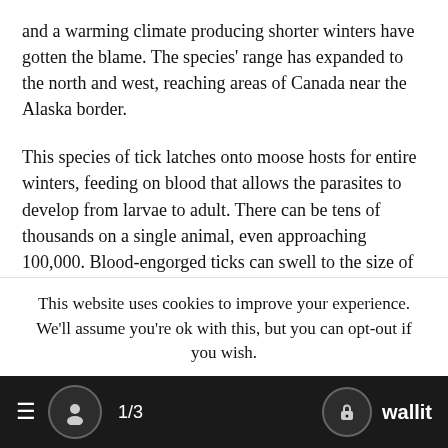and a warming climate producing shorter winters have gotten the blame. The species' range has expanded to the north and west, reaching areas of Canada near the Alaska border.
This species of tick latches onto moose hosts for entire winters, feeding on blood that allows the parasites to develop from larvae to adult. There can be tens of thousands on a single animal, even approaching 100,000. Blood-engorged ticks can swell to the size of grapes.
Because tick-infested moose scratch away their hair, sometimes leaving just patches of white wisps, they are sometimes called "ghost moose." With their thinned coats, those moose lose their
This website uses cookies to improve your experience. We'll assume you're ok with this, but you can opt-out if you wish.
≡  [avatar]  1/3  [lock] wallit